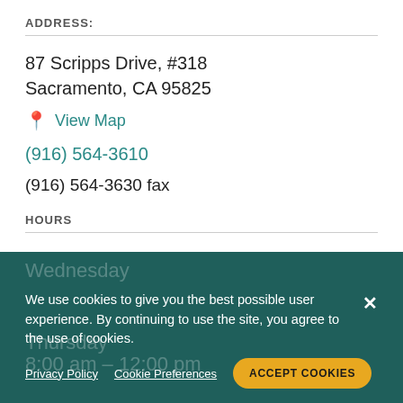ADDRESS:
87 Scripps Drive, #318
Sacramento, CA 95825
📍 View Map
(916) 564-3610
(916) 564-3630 fax
HOURS
Monday – Tuesday
8:00 am – 12:00 pm
We use cookies to give you the best possible user experience. By continuing to use the site, you agree to the use of cookies.
Privacy Policy   Cookie Preferences   ACCEPT COOKIES